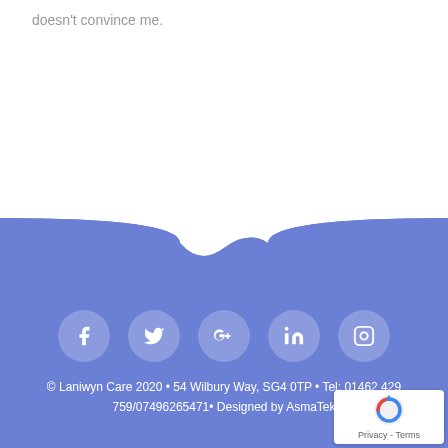doesn't convince me.
[Figure (illustration): Blue footer section with wave-shaped top edge and social media icons (Facebook, Twitter, Google+, LinkedIn, Instagram) displayed as white icons in semi-transparent circular buttons]
© Laniwyn Care 2020 • 54 Wilbury Way, SG4 0TP • Tel: 01462 429 759/07496265471• Designed by AsmaTek
[Figure (logo): reCAPTCHA badge with Privacy and Terms text]